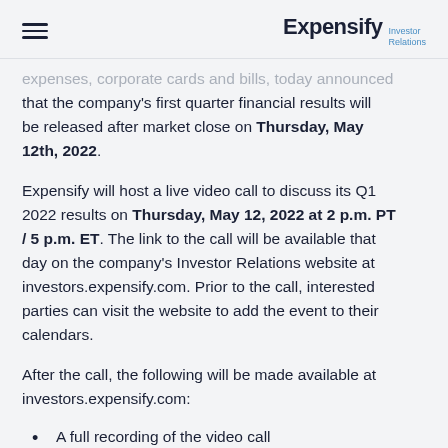Expensify Investor Relations
expenses, corporate cards and bills, today announced that the company’s first quarter financial results will be released after market close on Thursday, May 12th, 2022.
Expensify will host a live video call to discuss its Q1 2022 results on Thursday, May 12, 2022 at 2 p.m. PT / 5 p.m. ET. The link to the call will be available that day on the company’s Investor Relations website at investors.expensify.com. Prior to the call, interested parties can visit the website to add the event to their calendars.
After the call, the following will be made available at investors.expensify.com:
A full recording of the video call
An investor deck and press releases summarizing